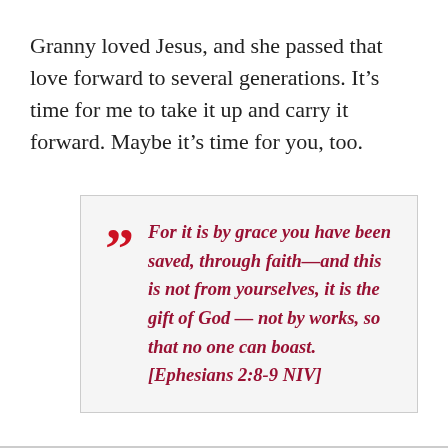Granny loved Jesus, and she passed that love forward to several generations. It’s time for me to take it up and carry it forward. Maybe it’s time for you, too.
“For it is by grace you have been saved, through faith—and this is not from yourselves, it is the gift of God — not by works, so that no one can boast. [Ephesians 2:8-9 NIV]